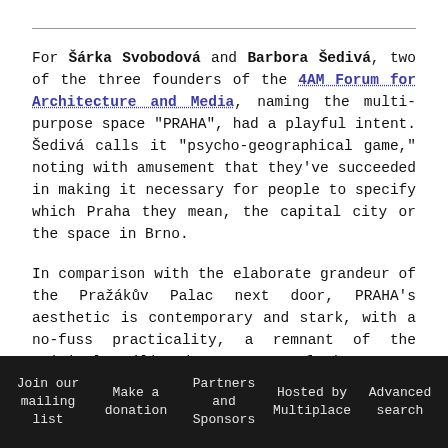For Šárka Svobodová and Barbora Šedivá, two of the three founders of the 4AM Forum for Architecture and Media, naming the multi-purpose space "PRAHA", had a playful intent. Šedivá calls it "psycho-geographical game," noting with amusement that they've succeeded in making it necessary for people to specify which Praha they mean, the capital city or the space in Brno.

In comparison with the elaborate grandeur of the Pražákův Palac next door, PRAHA's aesthetic is contemporary and stark, with a no-fuss practicality, a remnant of the original utilitarian purpose of the space, supported by the special
Join our mailing list   Make a donation   Partners and Sponsors   Hosted by Multiplace   Advanced search